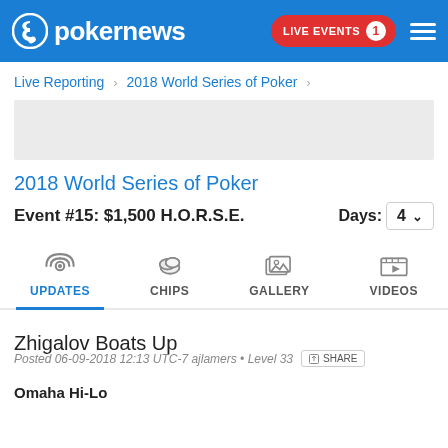pokernews — LIVE EVENTS 1
Live Reporting > 2018 World Series of Poker >
[Figure (other): Advertisement placeholder gray box]
2018 World Series of Poker
Event #15: $1,500 H.O.R.S.E.    Days: 4
[Figure (infographic): Navigation tabs with icons: UPDATES (active, radio waves icon), CHIPS (poker chips icon), GALLERY (photo icon), VIDEOS (play button icon)]
Zhigalov Boats Up
Posted 06-09-2018 12:13 UTC-7 ajlamers • Level 33   SHARE
Omaha Hi-Lo